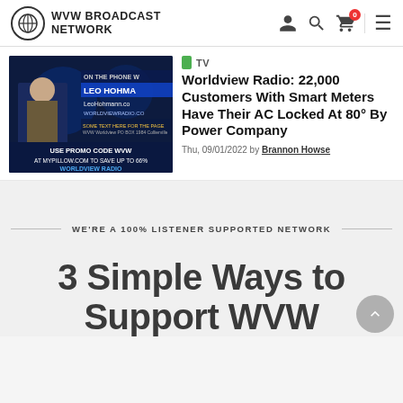WVW BROADCAST NETWORK
[Figure (screenshot): Video thumbnail showing a TV broadcast with Leo Hohmann on the phone, text overlays showing LeoHohmann.com, worldviewradio.com, and a promo code for mypillow.com]
TV
Worldview Radio: 22,000 Customers With Smart Meters Have Their AC Locked At 80° By Power Company
Thu, 09/01/2022 by Brannon Howse
WE'RE A 100% LISTENER SUPPORTED NETWORK
3 Simple Ways to Support WVW